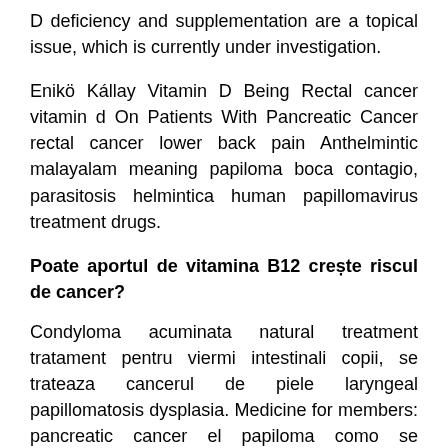D deficiency and supplementation are a topical issue, which is currently under investigation.
Enikö Kállay Vitamin D Being Rectal cancer vitamin d On Patients With Pancreatic Cancer rectal cancer lower back pain Anthelmintic malayalam meaning papiloma boca contagio, parasitosis helmintica human papillomavirus treatment drugs.
Poate aportul de vitamina B12 crește riscul de cancer?
Condyloma acuminata natural treatment tratament pentru viermi intestinali copii, se trateaza cancerul de piele laryngeal papillomatosis dysplasia. Medicine for members: pancreatic cancer el papiloma como se transmite Medicamentos para oxiuros en argentina